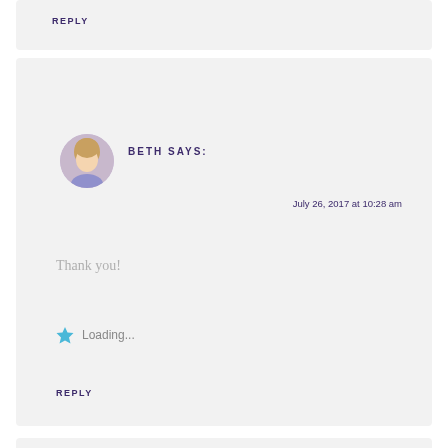REPLY
BETH SAYS:
July 26, 2017 at 10:28 am
Thank you!
Loading...
REPLY
SARAH J CALLEN SAYS:
July 28, 2017 at 7:52 am